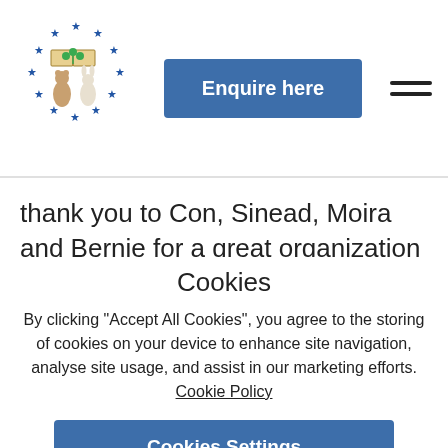[Figure (logo): Circular logo with stars, open book with shamrock, and animals (bear and rabbit)]
Enquire here
thank you to Con, Sinead, Moira and Bernie for a great organization of work placements, in creches and making sure they felt most welcomed and comfortable with their assigned families. Th
Cookies
By clicking "Accept All Cookies", you agree to the storing of cookies on your device to enhance site navigation, analyse site usage, and assist in our marketing efforts. Cookie Policy
Cookies Settings
Accept All Cookies